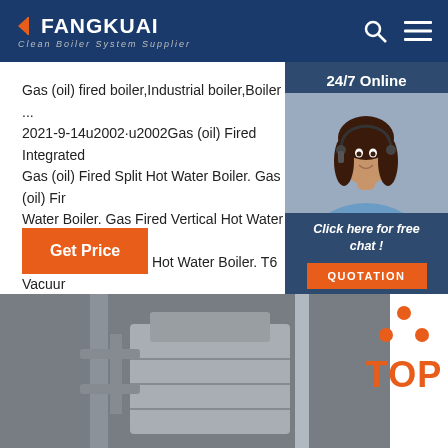FANGKUAI Clean Boiler System Supplier
Gas (oil) fired boiler,Industrial boiler,Boiler ... 2021-9-14u2002·u2002Gas (oil) Fired Integrated Gas (oil) Fired Split Hot Water Boiler. Gas (oil) Fired Water Boiler. Gas Fired Vertical Hot Water Boiler Boiler. H6 Gas Fired Hot Water Boiler. T6 Vacuum T7 Vacuum Hot Water Boiler. V6 Gas Fired Hot W
[Figure (photo): Customer service agent woman with headset, 24/7 Online chat support panel with dark blue background]
24/7 Online
Click here for free chat !
QUOTATION
Get Price
[Figure (photo): Industrial boiler equipment photograph in grayscale showing pipes and machinery]
[Figure (infographic): TOP badge with orange dots arranged in triangle and orange TOP text]